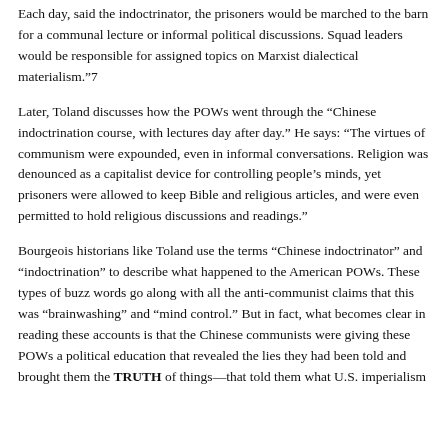Each day, said the indoctrinator, the prisoners would be marched to the barn for a communal lecture or informal political discussions. Squad leaders would be responsible for assigned topics on Marxist dialectical materialism.”7
Later, Toland discusses how the POWs went through the “Chinese indoctrination course, with lectures day after day.” He says: “The virtues of communism were expounded, even in informal conversations. Religion was denounced as a capitalist device for controlling people’s minds, yet prisoners were allowed to keep Bible and religious articles, and were even permitted to hold religious discussions and readings.”
Bourgeois historians like Toland use the terms “Chinese indoctrinator” and “indoctrination” to describe what happened to the American POWs. These types of buzz words go along with all the anti-communist claims that this was “brainwashing” and “mind control.” But in fact, what becomes clear in reading these accounts is that the Chinese communists were giving these POWs a political education that revealed the lies they had been told and brought them the TRUTH of things—that told them what U.S. imperialism